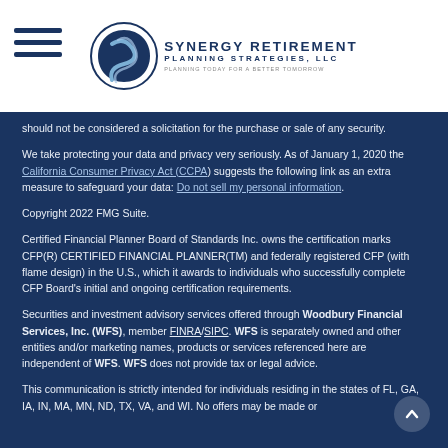Synergy Retirement Planning Strategies, LLC
should not be considered a solicitation for the purchase or sale of any security.
We take protecting your data and privacy very seriously. As of January 1, 2020 the California Consumer Privacy Act (CCPA) suggests the following link as an extra measure to safeguard your data: Do not sell my personal information.
Copyright 2022 FMG Suite.
Certified Financial Planner Board of Standards Inc. owns the certification marks CFP(R) CERTIFIED FINANCIAL PLANNER(TM) and federally registered CFP (with flame design) in the U.S., which it awards to individuals who successfully complete CFP Board's initial and ongoing certification requirements.
Securities and investment advisory services offered through Woodbury Financial Services, Inc. (WFS), member FINRA/SIPC. WFS is separately owned and other entities and/or marketing names, products or services referenced here are independent of WFS. WFS does not provide tax or legal advice.
This communication is strictly intended for individuals residing in the states of FL, GA, IA, IN, MA, MN, ND, TX, VA, and WI. No offers may be made or